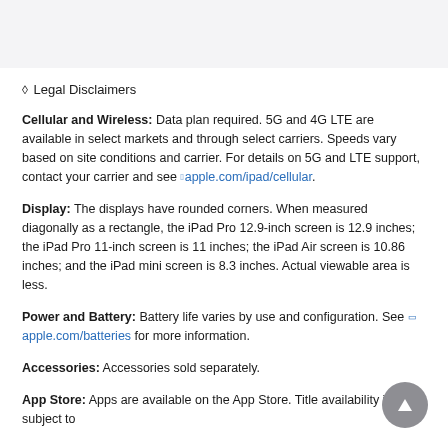◇ Legal Disclaimers
Cellular and Wireless: Data plan required. 5G and 4G LTE are available in select markets and through select carriers. Speeds vary based on site conditions and carrier. For details on 5G and LTE support, contact your carrier and see apple.com/ipad/cellular.
Display: The displays have rounded corners. When measured diagonally as a rectangle, the iPad Pro 12.9-inch screen is 12.9 inches; the iPad Pro 11-inch screen is 11 inches; the iPad Air screen is 10.86 inches; and the iPad mini screen is 8.3 inches. Actual viewable area is less.
Power and Battery: Battery life varies by use and configuration. See apple.com/batteries for more information.
Accessories: Accessories sold separately.
App Store: Apps are available on the App Store. Title availability is subject to